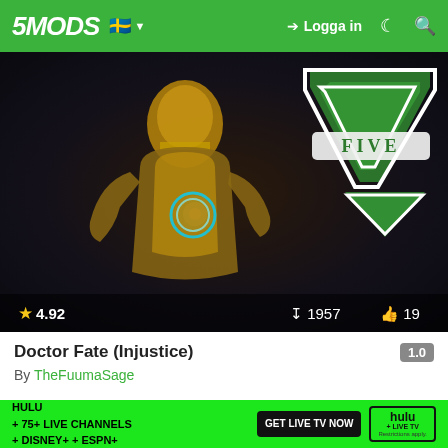5MODS — Logga in
[Figure (screenshot): GTA V mod thumbnail showing a Doctor Fate (Injustice) character with glowing blue arc reactor-like chest piece and gold armor, with GTA V Five logo top right. Rating: 4.92 stars, 1957 downloads, 19 likes.]
Doctor Fate (Injustice)
By TheFuumaSage
[Figure (screenshot): GTA V mod listing thumbnail showing a red devil/demon character on the left and Grand Theft Auto V text logo on the right, with a Hulu advertisement overlay at the bottom.]